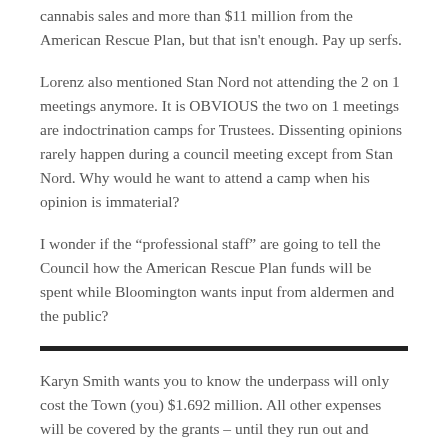cannabis sales and more than $11 million from the American Rescue Plan, but that isn't enough. Pay up serfs.
Lorenz also mentioned Stan Nord not attending the 2 on 1 meetings anymore. It is OBVIOUS the two on 1 meetings are indoctrination camps for Trustees. Dissenting opinions rarely happen during a council meeting except from Stan Nord. Why would he want to attend a camp when his opinion is immaterial?
I wonder if the “professional staff” are going to tell the Council how the American Rescue Plan funds will be spent while Bloomington wants input from aldermen and the public?
Karyn Smith wants you to know the underpass will only cost the Town (you) $1.692 million. All other expenses will be covered by the grants – until they run out and construction expenses are higher than anticipated. Chris Koos claims staff is really good at changing plans when necessary. Of course inflation hasn’t been